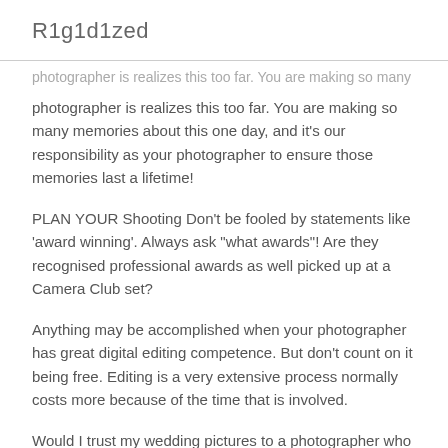R1g1d1zed
photographer is realizes this too far. You are making so many memories about this one day, and it's our responsibility as your photographer to ensure those memories last a lifetime!
PLAN YOUR Shooting Don't be fooled by statements like 'award winning'. Always ask "what awards"! Are they recognised professional awards as well picked up at a Camera Club set?
Anything may be accomplished when your photographer has great digital editing competence. But don't count on it being free. Editing is a very extensive process normally costs more because of the time that is involved.
Would I trust my wedding pictures to a photographer who